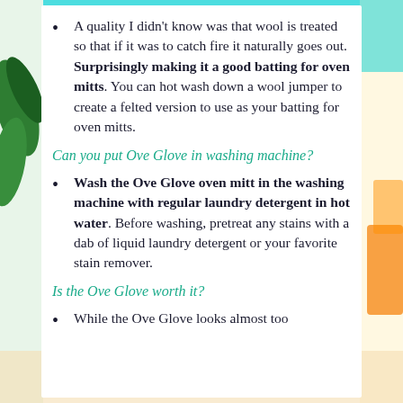A quality I didn't know was that wool is treated so that if it was to catch fire it naturally goes out. Surprisingly making it a good batting for oven mitts. You can hot wash down a wool jumper to create a felted version to use as your batting for oven mitts.
Can you put Ove Glove in washing machine?
Wash the Ove Glove oven mitt in the washing machine with regular laundry detergent in hot water. Before washing, pretreat any stains with a dab of liquid laundry detergent or your favorite stain remover.
Is the Ove Glove worth it?
While the Ove Glove looks almost too